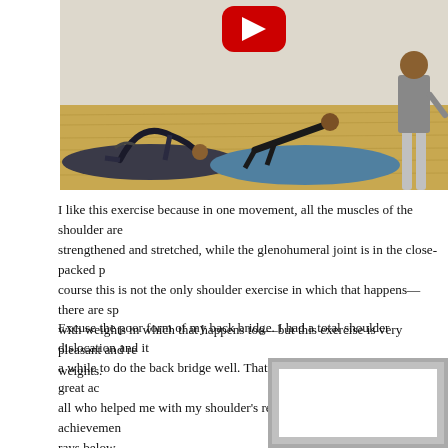[Figure (photo): Video thumbnail showing two people exercising on mats in a gym. One person is doing a back bridge on a dark mat on the left, another is doing a push-up or similar exercise on a blue mat on the right, with a third person (trainer) standing on the far right. A YouTube play button is visible at the top center.]
I like this exercise because in one movement, all the muscles of the shoulder are strengthened and stretched, while the glenohumeral joint is in the close-packed p... course this is not the only shoulder exercise in which that happens—there are sp... with weights in which that happens too—but this exercise is very pleasant and re... weights.
Excuse the poor form of my back bridge. I had a total shoulder dislocation and it... a while to do the back bridge well. That I can do a back bridge at all is a great ac... all who helped me with my shoulder's rehabilitation. How great the achievemen... rays below.
[Figure (photo): A framed image placeholder showing an X-ray or medical image, partially visible at bottom right of the page.]